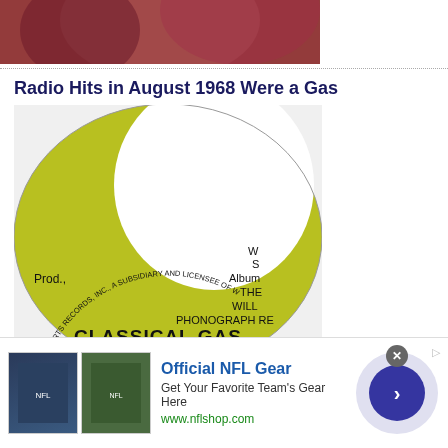[Figure (photo): Top portion of a photo showing a reddish/pink blurred background, partial view cut off]
Radio Hits in August 1968 Were a Gas
[Figure (photo): Close-up photo of a yellow-green vinyl record label reading: CLASSICAL GAS, (Mason Williams), Irving Music, Inc., BMI - 3:00, Prod., Album, THE, WILL, PHONOGRAPH RE, SEVEN ARTS RECORDS, INC., A SUBSIDIARY AND LICENSEE OF W]
[Figure (photo): Advertisement banner: Official NFL Gear - Get Your Favorite Team's Gear Here, www.nflshop.com, with NFL apparel images and a blue circular arrow button]